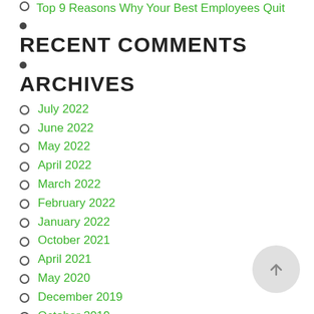Top 9 Reasons Why Your Best Employees Quit
RECENT COMMENTS
ARCHIVES
July 2022
June 2022
May 2022
April 2022
March 2022
February 2022
January 2022
October 2021
April 2021
May 2020
December 2019
October 2019